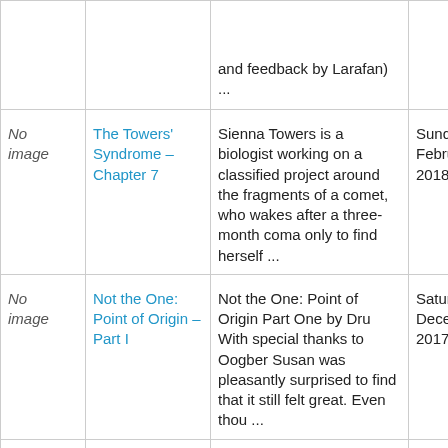|  | Title | Description | Date |
| --- | --- | --- | --- |
| No image | and feedback by Larafan) ... |  |  |
| No image | The Towers' Syndrome – Chapter 7 | Sienna Towers is a biologist working on a classified project around the fragments of a comet, who wakes after a three-month coma only to find herself ... | Sunday, 25 February 2018 17:30 |
| No image | Not the One: Point of Origin – Part I | Not the One: Point of Origin Part One by Dru With special thanks to Oogber Susan was pleasantly surprised to find that it still felt great. Even thou ... | Saturday, 23 December 2017 14:04 |
| No image | ... | Chapter 8: Relativit... | Tuesday, 19... |